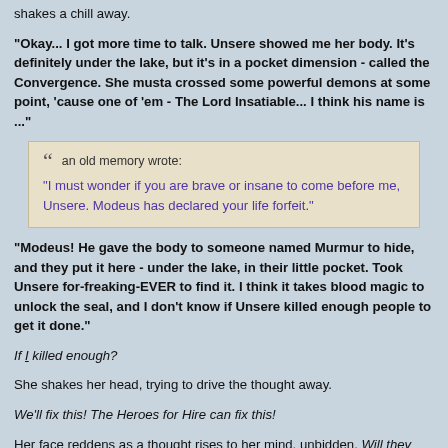shakes a chill away.
"Okay... I got more time to talk. Unsere showed me her body. It's definitely under the lake, but it's in a pocket dimension - called the Convergence. She musta crossed some powerful demons at some point, 'cause one of 'em - The Lord Insatiable... I think his name is ..."
an old memory wrote:
"I must wonder if you are brave or insane to come before me, Unsere. Modeus has declared your life forfeit."
"Modeus! He gave the body to someone named Murmur to hide, and they put it here - under the lake, in their little pocket. Took Unsere for-freaking-EVER to find it. I think it takes blood magic to unlock the seal, and I don't know if Unsere killed enough people to get it done."
If I killed enough?
She shakes her head, trying to drive the thought away.
We'll fix this! The Heroes for Hire can fix this!
Her face reddens as a thought rises to her mind, unbidden. Will they want you around once they know all you've done?